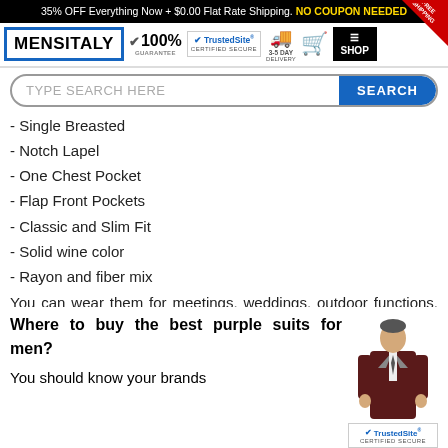35% OFF Everything Now + $0.00 Flat Rate Shipping. NO COUPON NEEDED
[Figure (logo): MENSITALY logo with blue border, 100% guarantee checkmark, TrustedSite Certified Secure badge, 3-5 Day Delivery icon, shopping cart icon, and shop/menu icon]
TYPE SEARCH HERE [SEARCH button]
- Single Breasted
- Notch Lapel
- One Chest Pocket
- Flap Front Pockets
- Classic and Slim Fit
- Solid wine color
- Rayon and fiber mix
You can wear them for meetings, weddings, outdoor functions, and all the other stage shows.
Where to buy the best purple suits for men?
You should know your brands
[Figure (photo): Man in dark wine/maroon suit with white shirt and tie, TrustedSite Certified Secure badge overlay at bottom]